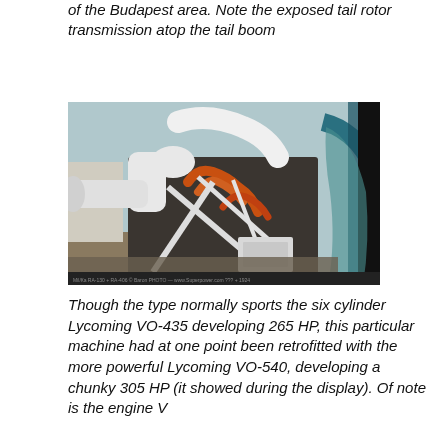of the Budapest area. Note the exposed tail rotor transmission atop the tail boom
[Figure (photo): Close-up photo of a helicopter engine (Lycoming VO-540) with white exhaust pipes, orange coolant hoses, and a white tubular frame structure. The cockpit canopy is visible on the right side.]
Though the type normally sports the six cylinder Lycoming VO-435 developing 265 HP, this particular machine had at one point been retrofitted with the more powerful Lycoming VO-540, developing a chunky 305 HP (it showed during the display). Of note is the engine V